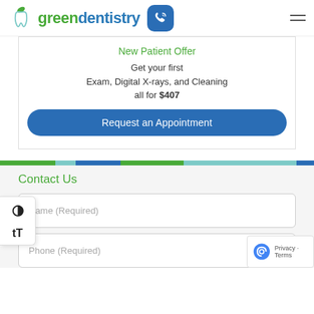[Figure (logo): Green Dentistry logo with tooth and leaf icon, phone icon button, and hamburger menu]
New Patient Offer
Get your first Exam, Digital X-rays, and Cleaning all for $407
Request an Appointment
Contact Us
Name (Required)
Phone (Required)